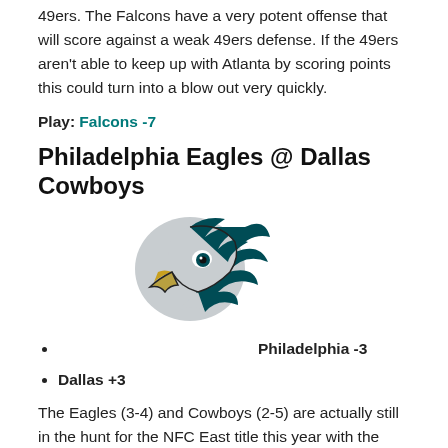49ers. The Falcons have a very potent offense that will score against a weak 49ers defense. If the 49ers aren't able to keep up with Atlanta by scoring points this could turn into a blow out very quickly.
Play: Falcons -7
Philadelphia Eagles @ Dallas Cowboys
[Figure (logo): Philadelphia Eagles logo — eagle head facing left in dark green, silver and black]
Philadelphia -3
Dallas +3
The Eagles (3-4) and Cowboys (2-5) are actually still in the hunt for the NFC East title this year with the Giants leading the division at 4-4, so that makes this game extremely